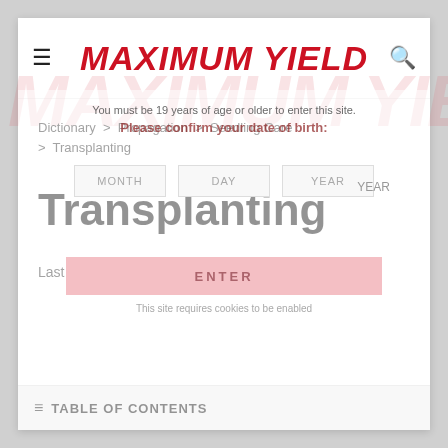MAXIMUM YIELD
Dictionary > Propagation > Seedling Care > Transplanting
Transplanting
Last updated: May 12, 2021
TABLE OF CONTENTS